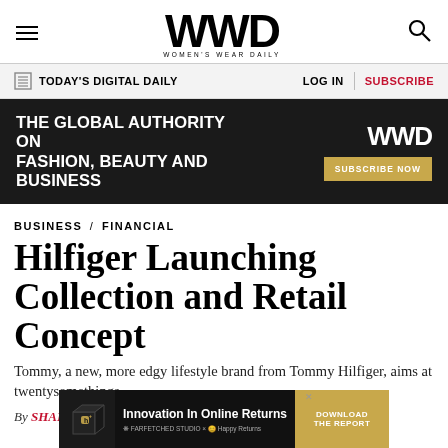WWD — WOMEN'S WEAR DAILY
TODAY'S DIGITAL DAILY  LOG IN  SUBSCRIBE
[Figure (infographic): Dark banner ad: 'THE GLOBAL AUTHORITY ON FASHION, BEAUTY AND BUSINESS' with WWD logo and SUBSCRIBE NOW button]
BUSINESS / FINANCIAL
Hilfiger Launching Collection and Retail Concept
Tommy, a new, more edgy lifestyle brand from Tommy Hilfiger, aims at twentysomethings.
By SHARON EDELSON
[Figure (infographic): Bottom ad: Innovation In Online Returns — DOWNLOAD THE REPORT, featuring HappyReturns logo]